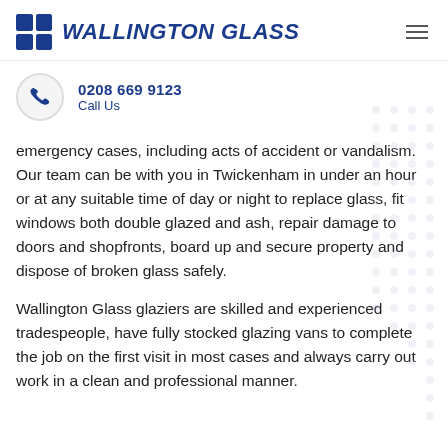[Figure (logo): Wallington Glass logo with blue grid squares and bold italic text]
0208 669 9123
Call Us
emergency cases, including acts of accident or vandalism. Our team can be with you in Twickenham in under an hour or at any suitable time of day or night to replace glass, fit windows both double glazed and ash, repair damage to doors and shopfronts, board up and secure property and dispose of broken glass safely.
Wallington Glass glaziers are skilled and experienced tradespeople, have fully stocked glazing vans to complete the job on the first visit in most cases and always carry out work in a clean and professional manner.